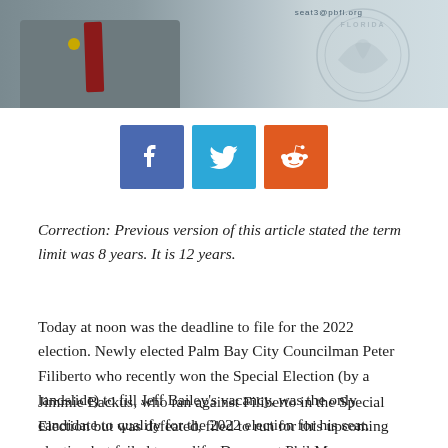[Figure (photo): Photo banner showing a man in a gray suit with a red tie and a badge, with a Florida state seal watermark in the background and an email address seat3@pbfl.org visible]
[Figure (infographic): Social media share buttons: Facebook (blue), Twitter (light blue), Reddit (orange)]
Correction: Previous version of this article stated the term limit was 8 years. It is 12 years.
Today at noon was the deadline to file for the 2022 election. Newly elected Palm Bay City Councilman Peter Filiberto who recently won the Special Election (by a landslide) to fill Jeff Bailey's vacancy, was the only candidate to qualify for the 2022 election for his seat.
Jimmie Backus, who ran against Filiberto in the Special Election but was defeated, filed to run for this upcoming election but failed to qualify. Democrat Phil Mo...